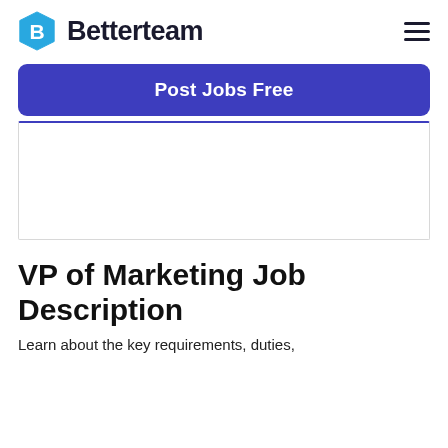Betterteam
[Figure (logo): Betterteam logo: blue hexagon with white B, followed by bold text Betterteam]
Post Jobs Free
[Figure (other): White card area with blue top border, partially visible content panel]
VP of Marketing Job Description
Learn about the key requirements, duties,